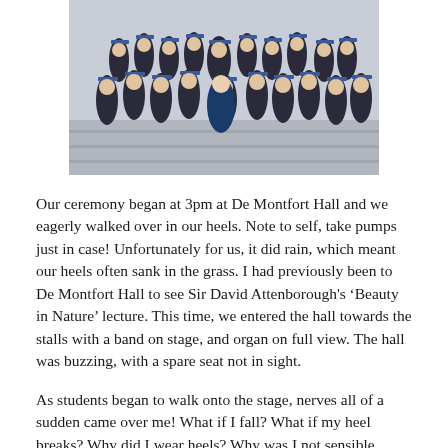[Figure (photo): Group graduation photo showing a large number of graduates in black gowns and blue mortarboards/hoods standing on steps, with some people in formal attire in the middle.]
Our ceremony began at 3pm at De Montfort Hall and we eagerly walked over in our heels. Note to self, take pumps just in case! Unfortunately for us, it did rain, which meant our heels often sank in the grass. I had previously been to De Montfort Hall to see Sir David Attenborough's ‘Beauty in Nature’ lecture. This time, we entered the hall towards the stalls with a band on stage, and organ on full view. The hall was buzzing, with a spare seat not in sight.
As students began to walk onto the stage, nerves all of a sudden came over me! What if I fall? What if my heel breaks? Why did I wear heels? Why was I not sensible